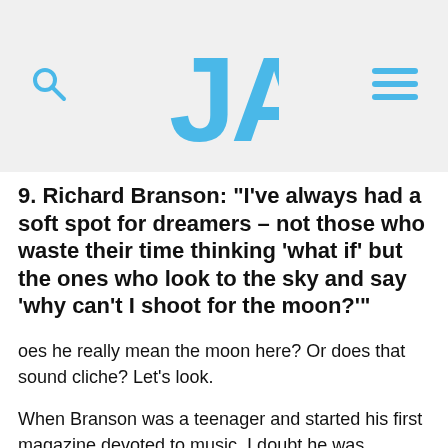[Figure (logo): JA logo in blue with search icon on left and hamburger menu icon on right, on a light gray background header]
9. Richard Branson: “I’ve always had a soft spot for dreamers – not those who waste their time thinking ‘what if’ but the ones who look to the sky and say ‘why can’t I shoot for the moon?’”
oes he really mean the moon here? Or does that sound cliche? Let’s look.
When Branson was a teenager and started his first magazine devoted to music, I doubt he was thinking about shooting for the moon.